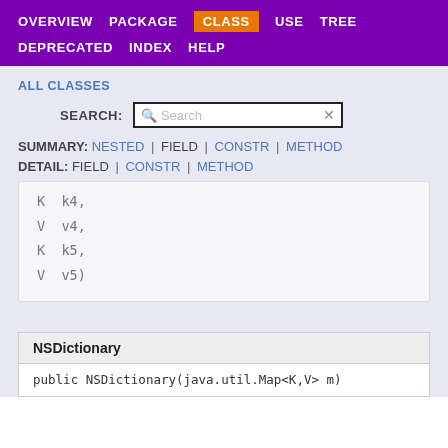OVERVIEW | PACKAGE | CLASS | USE | TREE | DEPRECATED | INDEX | HELP
ALL CLASSES
SEARCH:
SUMMARY: NESTED | FIELD | CONSTR | METHOD
DETAIL: FIELD | CONSTR | METHOD
K k4,
V v4,
K k5,
V v5)
NSDictionary
public NSDictionary(java.util.Map<K,V> m)